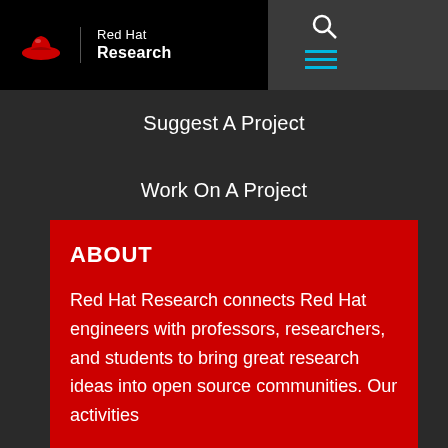[Figure (logo): Red Hat Research logo: red hat icon with vertical bar, text 'Red Hat Research' in white on black background, search and hamburger menu icons]
Suggest A Project
Work On A Project
Contact Us
Log In
ABOUT
Red Hat Research connects Red Hat engineers with professors, researchers, and students to bring great research ideas into open source communities. Our activities